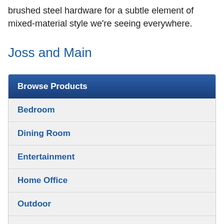brushed steel hardware for a subtle element of mixed-material style we're seeing everywhere.
Joss and Main
| Browse Products |
| --- |
| Bedroom |
| Dining Room |
| Entertainment |
| Home Office |
| Outdoor |
| Upholstery |